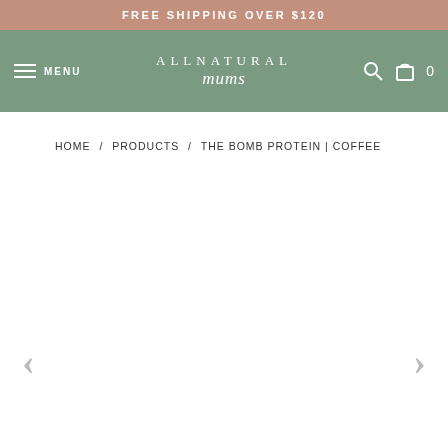FREE SHIPPING OVER $120
[Figure (logo): All Natural Mums logo with navigation bar including menu icon, search icon, and cart icon showing 0 items on a sage green background]
HOME / PRODUCTS / THE BOMB PROTEIN | COFFEE